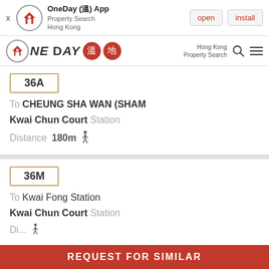[Figure (screenshot): OneDay app banner with icon, open and install buttons]
[Figure (logo): OneDay (溫地) App navigation bar logo with Hong Kong Property Search text, search icon and menu icon]
36A
To  CHEUNG SHA WAN (SHAM
Kwai Chun Court  Station
Distance  180m  🚶
36M
To  Kwai Fong Station
Kwai Chun Court  Station
REQUEST FOR SIMILAR